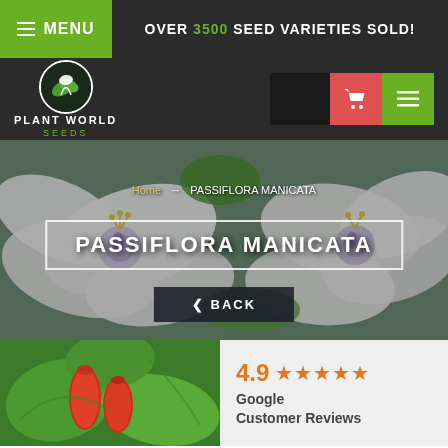MENU  OVER 3500 SEED VARIETIES SOLD!
[Figure (logo): Plant World Seeds logo with leaf icon, white circular emblem on dark background]
[Figure (photo): Hero banner with white and purple passionflower (Passiflora manicata) blooms close-up with green foliage background]
PASSIFLORA MANICATA
Home → PASSIFLORA MANICATA
‹ BACK
[Figure (photo): Product image showing red elongated Passiflora manicata fruits with green leaf]
4.9 ★★★★★ Google Customer Reviews